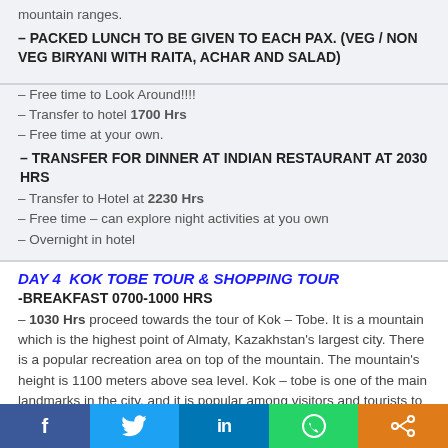mountain ranges.
– PACKED LUNCH TO BE GIVEN TO EACH PAX. (VEG / NON VEG BIRYANI WITH RAITA, ACHAR AND SALAD)
– Free time to Look Around!!!!
– Transfer to hotel 1700 Hrs
– Free time at your own.
– TRANSFER FOR DINNER AT INDIAN RESTAURANT AT 2030 HRS
– Transfer to Hotel at 2230 Hrs
– Free time – can explore night activities at you own
– Overnight in hotel
DAY 4  KOK TOBE TOUR & SHOPPING TOUR
-BREAKFAST 0700-1000 HRS
– 1030 Hrs proceed towards the tour of Kok – Tobe. It is a mountain which is the highest point of Almaty, Kazakhstan's largest city. There is a popular recreation area on top of the mountain. The mountain's height is 1100 meters above sea level. Kok – tobe is one of the main landmarks in the city, and it is popular among visitors and tourists to Almaty. The Kok – Tobe recreational area has a variety of